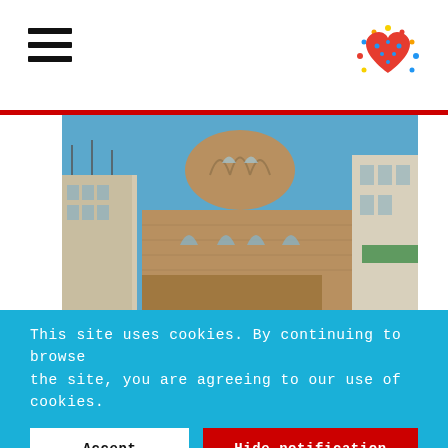[Figure (photo): Photograph of a Byzantine-style stone church with arched windows and ornate stonework, surrounded by modern urban buildings under a blue sky.]
This site uses cookies. By continuing to browse the site, you are agreeing to our use of cookies.
Accept settings
Hide notification only
Settings